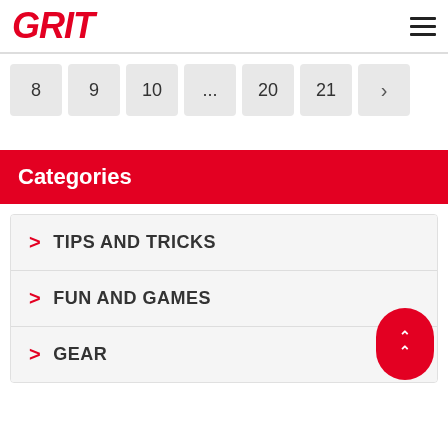GRIT
8
9
10
...
20
21
>
Categories
TIPS AND TRICKS
FUN AND GAMES
GEAR